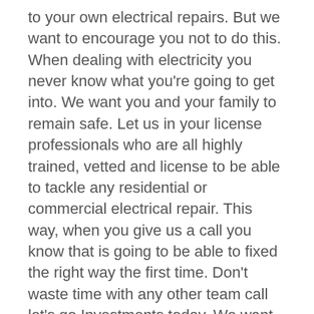to your own electrical repairs. But we want to encourage you not to do this. When dealing with electricity you never know what you're going to get into. We want you and your family to remain safe. Let us in your license professionals who are all highly trained, vetted and license to be able to tackle any residential or commercial electrical repair. This way, when you give us a call you know that is going to be able to fixed the right way the first time. Don't waste time with any other team call let's go Investments today. We want to get the Excellence in all the way through for you.
Electrical Investments is a team that you can rely on. Not only do we have 20 years of experience but we have a great reputation. Check us out on Google reviews today to see what we're able to offer you. You will love all the wonderful things that our team can do for you. So give us a call today and let us be the team next to be looking for. We look forward to next to